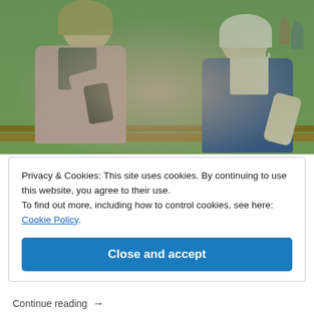[Figure (photo): A young woman and an elderly woman sitting on a park bench together, looking at a smartphone. The young woman is smiling and wearing a pink blazer; the elderly woman has white hair and is wearing a blue jacket with a pearl necklace. They are outdoors in a park with green grass and other people in the background.]
Privacy & Cookies: This site uses cookies. By continuing to use this website, you agree to their use.
To find out more, including how to control cookies, see here: Cookie Policy
Close and accept
Continue reading →